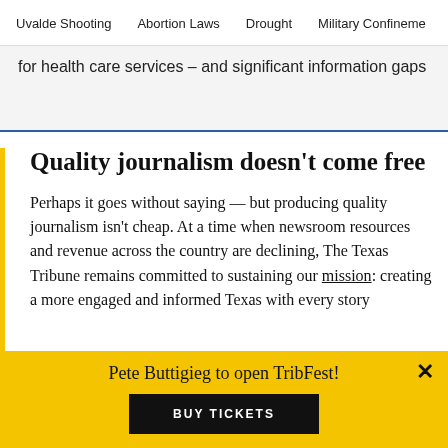Uvalde Shooting   Abortion Laws   Drought   Military Confinement
for health care services – and significant information gaps
Quality journalism doesn't come free
Perhaps it goes without saying — but producing quality journalism isn't cheap. At a time when newsroom resources and revenue across the country are declining, The Texas Tribune remains committed to sustaining our mission: creating a more engaged and informed Texas with every story
Pete Buttigieg to open TribFest!
BUY TICKETS